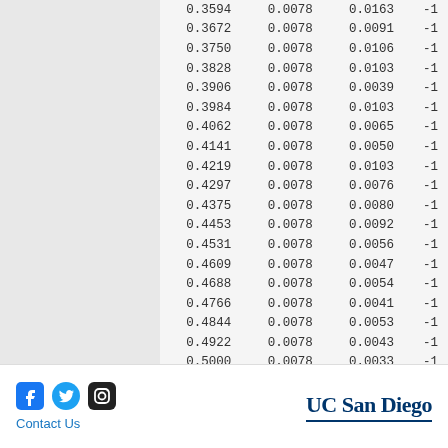| col1 | col2 | col3 | col4 |
| --- | --- | --- | --- |
| 0.3594 | 0.0078 | 0.0163 | -1 |
| 0.3672 | 0.0078 | 0.0091 | -1 |
| 0.3750 | 0.0078 | 0.0106 | -1 |
| 0.3828 | 0.0078 | 0.0103 | -1 |
| 0.3906 | 0.0078 | 0.0039 | -1 |
| 0.3984 | 0.0078 | 0.0103 | -1 |
| 0.4062 | 0.0078 | 0.0065 | -1 |
| 0.4141 | 0.0078 | 0.0050 | -1 |
| 0.4219 | 0.0078 | 0.0103 | -1 |
| 0.4297 | 0.0078 | 0.0076 | -1 |
| 0.4375 | 0.0078 | 0.0080 | -1 |
| 0.4453 | 0.0078 | 0.0092 | -1 |
| 0.4531 | 0.0078 | 0.0056 | -1 |
| 0.4609 | 0.0078 | 0.0047 | -1 |
| 0.4688 | 0.0078 | 0.0054 | -1 |
| 0.4766 | 0.0078 | 0.0041 | -1 |
| 0.4844 | 0.0078 | 0.0053 | -1 |
| 0.4922 | 0.0078 | 0.0043 | -1 |
| 0.5000 | 0.0078 | 0.0033 | -1 |
Contact Us | UC San Diego